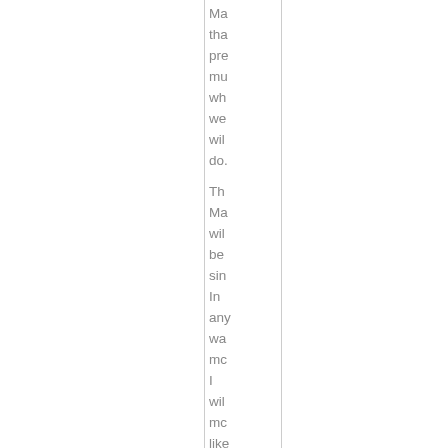Ma tha pre mu wh we wil do

Th Ma wil be sin In any wa mc I wil mc like be doi